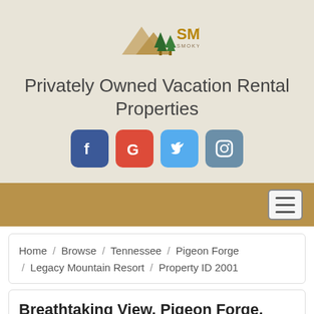[Figure (logo): SMBYO.com - Smoky Mountains By Owners logo with mountain and pine tree icon]
Privately Owned Vacation Rental Properties
[Figure (infographic): Social media icons: Facebook, Google, Twitter, Instagram]
Navigation bar with hamburger menu
Home / Browse / Tennessee / Pigeon Forge / Legacy Mountain Resort / Property ID 2001
Breathtaking View, Pigeon Forge, Tennessee Cabin Rental by Owner
Legacy Mountain Resort, Pigeon Forge